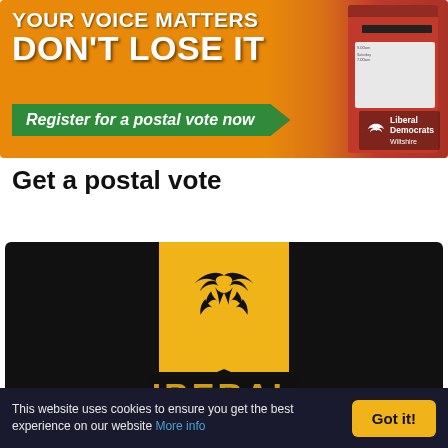[Figure (illustration): Liberal Democrats Wiltshire banner: orange background with white bold text 'YOUR VOICE MATTERS DON'T LOSE IT', green arrow with italic text 'Register for a postal vote now', red Royal Mail postbox on right, Liberal Democrats Wiltshire logo in corner.]
Get a postal vote
[Figure (logo): Liberal Democrats logo: black background with yellow bookmark/pennant shape containing black bird (phoenix/dove) emblem. Partial text visible at bottom in yellow.]
This website uses cookies to ensure you get the best experience on our website More info